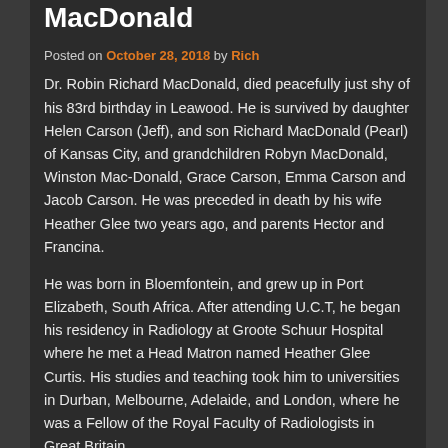Dr. Robin Richard MacDonald
Posted on October 28, 2018 by Rich
Dr. Robin Richard MacDonald, died peacefully just shy of his 83rd birthday in Leawood. He is survived by daughter Helen Carson (Jeff), and son Richard MacDonald (Pearl) of Kansas City, and grandchildren Robyn MacDonald, Winston Mac-Donald, Grace Carson, Emma Carson and Jacob Carson. He was preceded in death by his wife Heather Glee two years ago, and parents Hector and Francina.
He was born in Bloemfontein, and grew up in Port Elizabeth, South Africa. After attending U.C.T, he began his residency in Radiology at Groote Schuur Hospital where he met a Head Matron named Heather Glee Curtis. His studies and teaching took him to universities in Durban, Melbourne, Adelaide, and London, where he was a Fellow of the Royal Faculty of Radiologists in Great Britain.